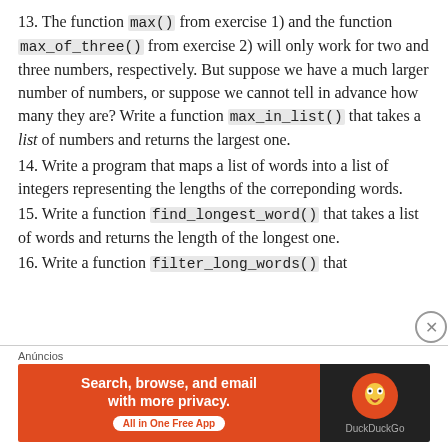13. The function max() from exercise 1) and the function max_of_three() from exercise 2) will only work for two and three numbers, respectively. But suppose we have a much larger number of numbers, or suppose we cannot tell in advance how many they are? Write a function max_in_list() that takes a list of numbers and returns the largest one.
14. Write a program that maps a list of words into a list of integers representing the lengths of the correponding words.
15. Write a function find_longest_word() that takes a list of words and returns the length of the longest one.
16. Write a function filter_long_words() that
[Figure (other): DuckDuckGo advertisement banner with orange background, 'Search, browse, and email with more privacy. All in One Free App' text and DuckDuckGo logo on dark background]